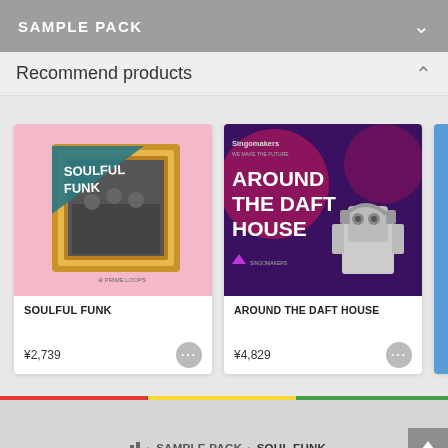SAMPLE PACK
Recommend products
[Figure (illustration): Soulful Funk sample pack cover art — ornate gold frame with black-and-white photo of musicians, teal diagonal banner with 'SOULFUL FUNK' text, pink background, Prime Loops branding]
SOULFUL FUNK
¥2,739
[Figure (illustration): Around The Daft House sample pack cover art — dark purple background with robot figure wearing headphones, pink/magenta design elements, Singomakers branding, 'AROUND THE DAFT HOUSE' in large white text]
AROUND THE DAFT HOUSE
¥4,829
SAMPLE PACK > SOUL FUNK